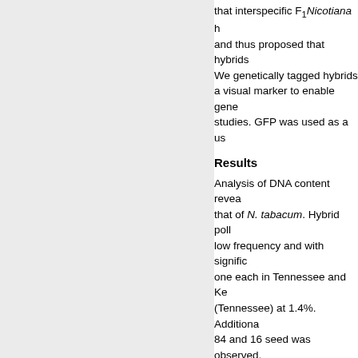that interspecific F₁Nicotiana h and thus proposed that hybrids We genetically tagged hybrids a visual marker to enable gene studies. GFP was used as a us
Results
Analysis of DNA content revea that of N. tabacum. Hybrid poll low frequency and with signific one each in Tennessee and Ke (Tennessee) at 1.4%. Additiona 84 and 16 seed was observed, were drawn from greenhouse c yield was not significantly diffe
Conclusion
N. tabacum × N. glauca hybrid biomanufacturing host system. green biomass yields relative t distinguishable from tobacco a biomanufacturing would optima isolation of N. tabacum produc
Recommended Citation
BMC Biotechnology 2013, 13:62